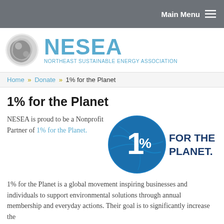Main Menu
[Figure (logo): NESEA Northeast Sustainable Energy Association logo with circular grey swoosh icon and blue text]
Home » Donate » 1% for the Planet
1% for the Planet
NESEA is proud to be a Nonprofit Partner of 1% for the Planet.
[Figure (logo): 1% for the Planet logo: blue circle with 1% symbol and text FOR THE PLANET in dark blue]
1% for the Planet is a global movement inspiring businesses and individuals to support environmental solutions through annual membership and everyday actions. Their goal is to significantly increase the